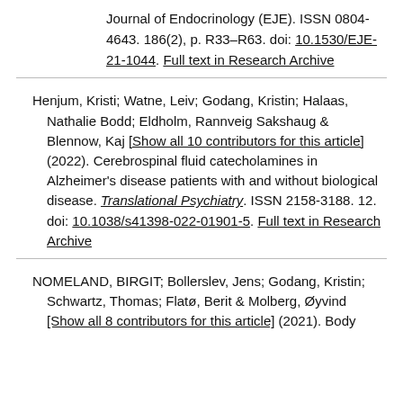Journal of Endocrinology (EJE). ISSN 0804-4643. 186(2), p. R33–R63. doi: 10.1530/EJE-21-1044. Full text in Research Archive
Henjum, Kristi; Watne, Leiv; Godang, Kristin; Halaas, Nathalie Bodd; Eldholm, Rannveig Sakshaug & Blennow, Kaj [Show all 10 contributors for this article] (2022). Cerebrospinal fluid catecholamines in Alzheimer's disease patients with and without biological disease. Translational Psychiatry. ISSN 2158-3188. 12. doi: 10.1038/s41398-022-01901-5. Full text in Research Archive
NOMELAND, BIRGIT; Bollerslev, Jens; Godang, Kristin; Schwartz, Thomas; Flatø, Berit & Molberg, Øyvind [Show all 8 contributors for this article] (2021). Body